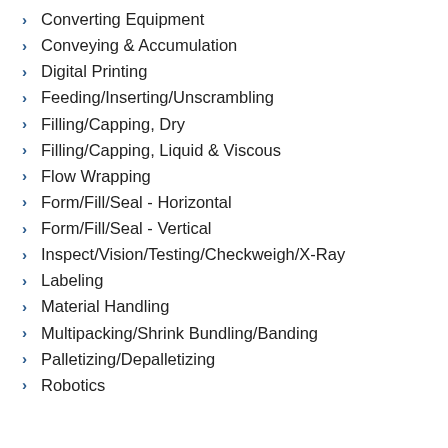Converting Equipment
Conveying & Accumulation
Digital Printing
Feeding/Inserting/Unscrambling
Filling/Capping, Dry
Filling/Capping, Liquid & Viscous
Flow Wrapping
Form/Fill/Seal - Horizontal
Form/Fill/Seal - Vertical
Inspect/Vision/Testing/Checkweigh/X-Ray
Labeling
Material Handling
Multipacking/Shrink Bundling/Banding
Palletizing/Depalletizing
Robotics